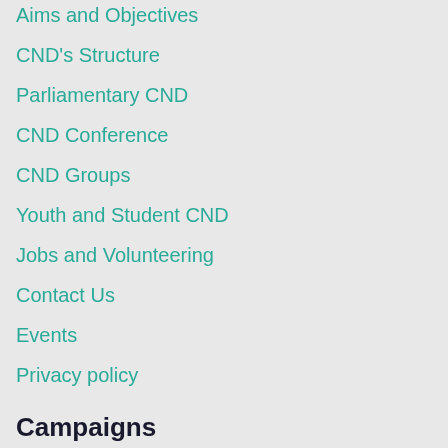Aims and Objectives
CND's Structure
Parliamentary CND
CND Conference
CND Groups
Youth and Student CND
Jobs and Volunteering
Contact Us
Events
Privacy policy
Campaigns
No to Trident
Global Abolition